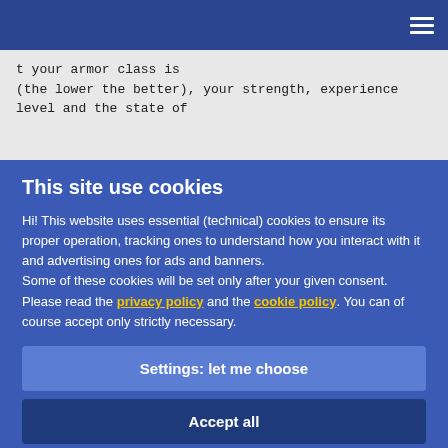☰
t your armor class is
(the lower the better), your strength, experience
level and the state of
This site use cookies
Hi! This website uses essential (technical) cookies to ensure its proper operation, tracking ones to understand how you interact with it and advertising ones for ads and banners.
Some of these cookies will be set only after your given consent.
Please read the privacy policy and the cookie policy. You can of course accept only strictly necessary.
Settings: let me choose
Accept all